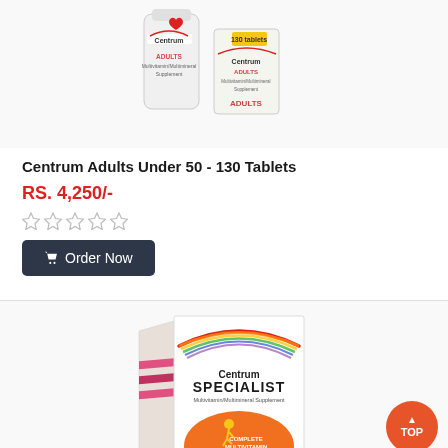[Figure (photo): Centrum Adults multivitamin supplement product bottles - two bottles showing Centrum Adults Under 50 brand]
Centrum Adults Under 50 - 130 Tablets
RS. 4,250/-
[Figure (other): Five empty star rating icons]
Order Now
[Figure (photo): Centrum Specialist Energy multivitamin multimineral supplement box with rainbow arc logo and orange energy figure design]
WhatsApp chat